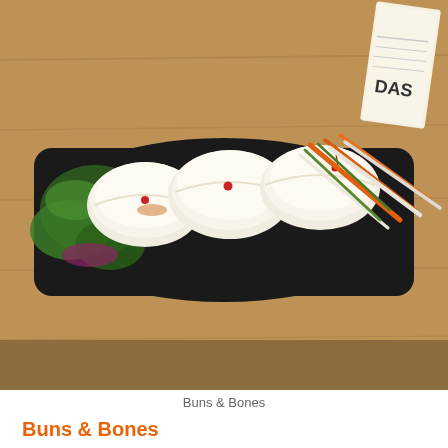[Figure (photo): Overhead photo of bao buns on a black rectangular tray, garnished with greens, pickled vegetables (carrots, radishes), red peppercorns, on a wooden table. A receipt visible in the top right corner.]
Buns & Bones
Buns & Bones
Calle Santa Isabel 5. Mercado Antón Martín
Metro: Antón Martín
The transformation of the Antón Martín neighbourhood market into a thriving multicultural gastronomic hub received a boost when this street-food styled stall opened on the exterior corner a few months ago. Serving up a scrumptious selection of bao buns